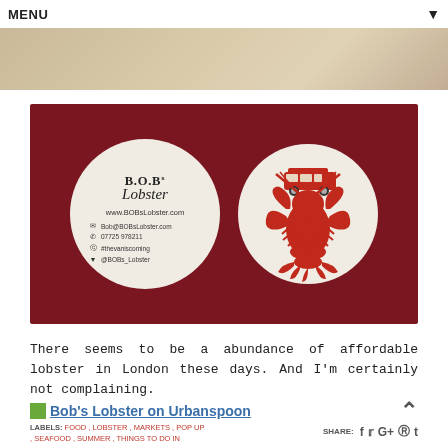MENU
[Figure (photo): Partial top image strip showing food, light tan/cream tones]
[Figure (photo): B.O.B's Lobster business card photo on dark red background. Two circular cards: left shows brand name B.O.B's Lobster with contact details (www.BOBsLobster.com, Bob@BOBsLobster.com, 07725 978211, #thevaniscoming, @BOBs_Lobster); right shows red lobster illustration with van on top.]
There seems to be a abundance of affordable lobster in London these days. And I'm certainly not complaining.
Bob's Lobster on Urbanspoon
LABELS: FOOD , LOBSTER , MARKETS , POP UP , SEAFOOD , SUMMER , THINGS TO DO IN LONDON   SHARE: